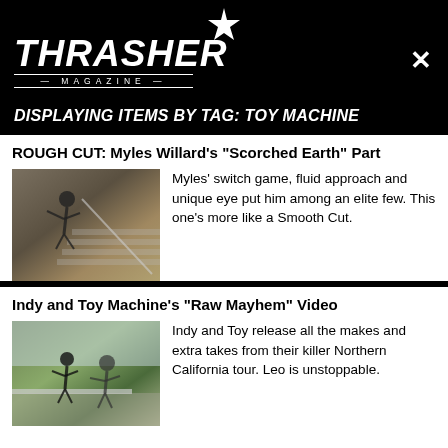THRASHER MAGAZINE
DISPLAYING ITEMS BY TAG: TOY MACHINE
ROUGH CUT: Myles Willard's "Scorched Earth" Part
[Figure (photo): Skateboarder performing a trick on stairs/rail]
Myles' switch game, fluid approach and unique eye put him among an elite few. This one's more like a Smooth Cut.
Indy and Toy Machine's "Raw Mayhem" Video
[Figure (photo): Two skateboarders on an outdoor ledge/rail]
Indy and Toy release all the makes and extra takes from their killer Northern California tour. Leo is unstoppable.